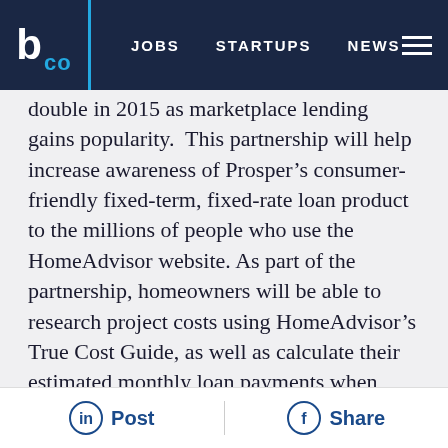b CO  JOBS  STARTUPS  NEWS
double in 2015 as marketplace lending gains popularity. This partnership will help increase awareness of Prosper’s consumer-friendly fixed-term, fixed-rate loan product to the millions of people who use the HomeAdvisor website. As part of the partnership, homeowners will be able to research project costs using HomeAdvisor’s True Cost Guide, as well as calculate their estimated monthly loan payments when financing their project through Prosper.
“We’re at the kick-off of home improvement season when homeowners submit more planning and budgeting requests for kitchen
Post  Share